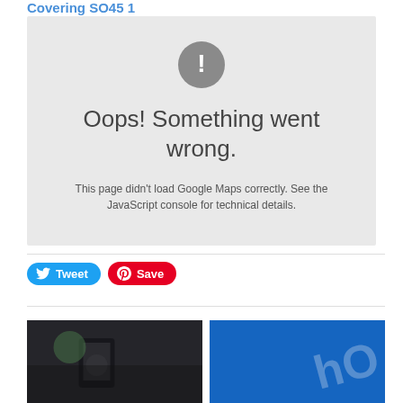Covering SO45 1
[Figure (screenshot): Google Maps error box with grey background showing exclamation icon and error message: Oops! Something went wrong. This page didn't load Google Maps correctly. See the JavaScript console for technical details.]
Oops! Something went wrong.
This page didn't load Google Maps correctly. See the JavaScript console for technical details.
[Figure (other): Tweet button (blue, rounded) and Save button (red, rounded with Pinterest icon)]
[Figure (photo): Left photo: person using a handheld device, blurred background. Right photo: blue-toned image with partial text/logo overlay.]